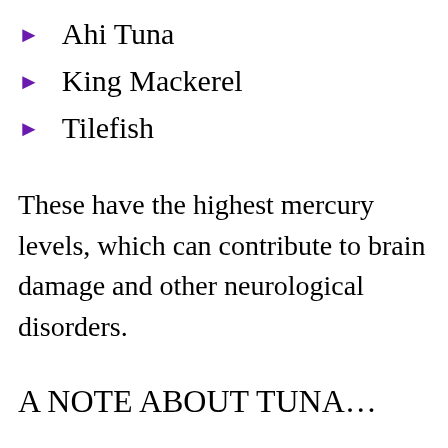Ahi Tuna
King Mackerel
Tilefish
These have the highest mercury levels, which can contribute to brain damage and other neurological disorders.
A NOTE ABOUT TUNA…
Tuna is one of the most prevalent forms of